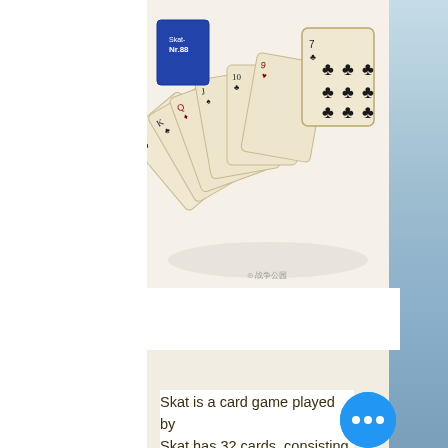[Figure (photo): Photo of a deck of Skat playing cards fanned out on a white surface, showing club suit cards prominently. Watermark text in Chinese characters visible bottom right.]
[Figure (photo): Photo of a tin box labeled 'Jubilaums-Skatkarte Nr.88' with blue plaid/tartan pattern on the lid. Chinese watermark visible at bottom right.]
Skat is a card game played by ... Skat has 32 cards, consisting of four